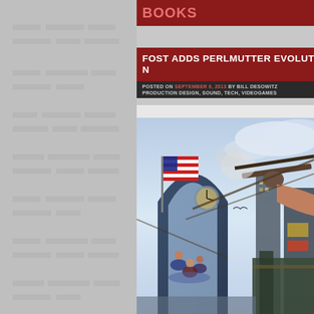BOOKS
FOST ADDS PERLMUTTER EVOLUTION
POSTED ON SEPTEMBER 6, 2013 BY BILL DESOWITZ PRODUCTION DESIGN, SOUND, TECH, VIDEOGAMES
[Figure (screenshot): Video game artwork showing a first-person shooter scene with a revolver being fired, an American flag, a large arch structure, and fantasy floating city elements with characters in a steampunk setting (BioShock Infinite)]